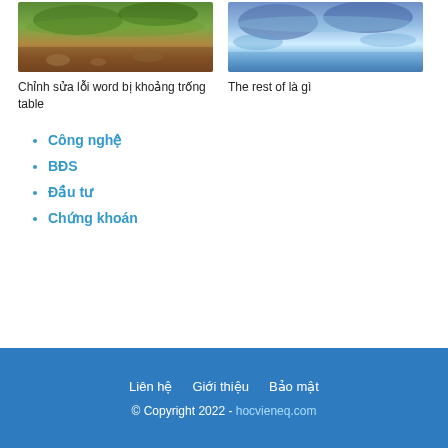[Figure (photo): Landscape photo of a forest river with brownish water and rocks]
[Figure (photo): Landscape photo of blue mountains reflected in a calm lake]
Chỉnh sửa lỗi word bị khoảng trống table
The rest of là gì
Công nghệ
BĐS
Đầu tư
Chứng khoán
Liên hệ   Giới thiệu   Bảo mật
© Copyright 2022 - hocvieneq.com